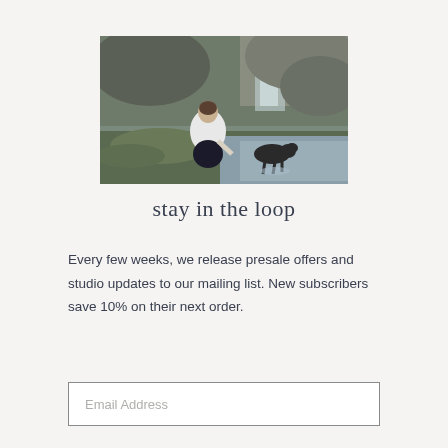[Figure (photo): A person crouching near a rocky stream or waterfall with a dark dog, in a lush outdoor setting with green moss and rocks.]
stay in the loop
Every few weeks, we release presale offers and studio updates to our mailing list. New subscribers save 10% on their next order.
Email Address